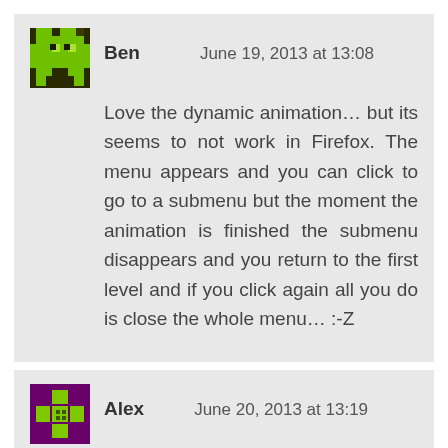[Figure (illustration): Pixel art avatar of a green creature on dark green/black background]
Ben
June 19, 2013 at 13:08
Love the dynamic animation… but its seems to not work in Firefox. The menu appears and you can click to go to a submenu but the moment the animation is finished the submenu disappears and you return to the first level and if you click again all you do is close the whole menu… :-Z
[Figure (illustration): Pixel art avatar of a green plus/cross shape on purple background]
Alex
June 20, 2013 at 13:19